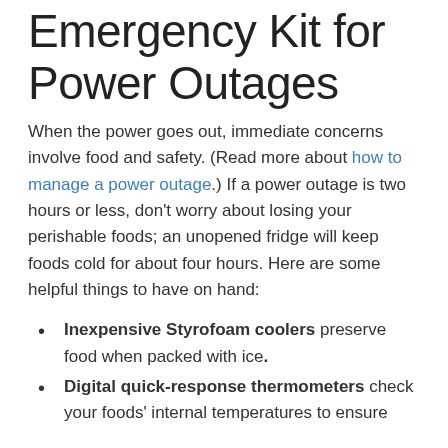Emergency Kit for Power Outages
When the power goes out, immediate concerns involve food and safety. (Read more about how to manage a power outage.) If a power outage is two hours or less, don't worry about losing your perishable foods; an unopened fridge will keep foods cold for about four hours. Here are some helpful things to have on hand:
Inexpensive Styrofoam coolers preserve food when packed with ice.
Digital quick-response thermometers check your foods' internal temperatures to ensure